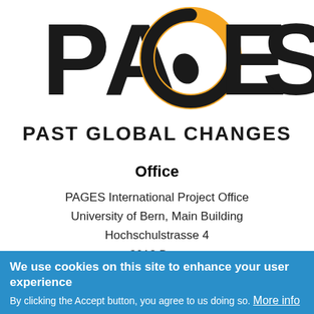[Figure (logo): PAGES (Past Global Changes) logo — large black letters spelling PAGES with an orange circular ring graphic replacing the letter G, and text PAST GLOBAL CHANGES below in black bold letters]
Office
PAGES International Project Office
University of Bern, Main Building
Hochschulstrasse 4
3012 Bern
Switzerland
We use cookies on this site to enhance your user experience
By clicking the Accept button, you agree to us doing so. More info